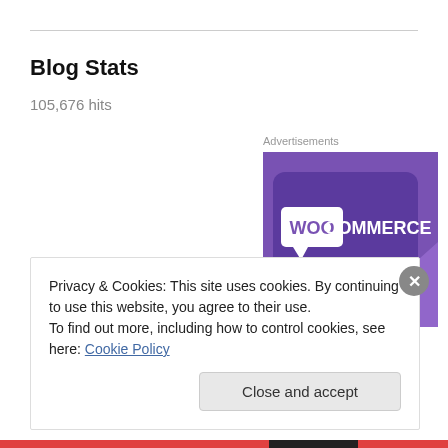Blog Stats
105,676 hits
Advertisements
[Figure (logo): WooCommerce logo on purple background advertisement banner]
Privacy & Cookies: This site uses cookies. By continuing to use this website, you agree to their use.
To find out more, including how to control cookies, see here: Cookie Policy
Close and accept